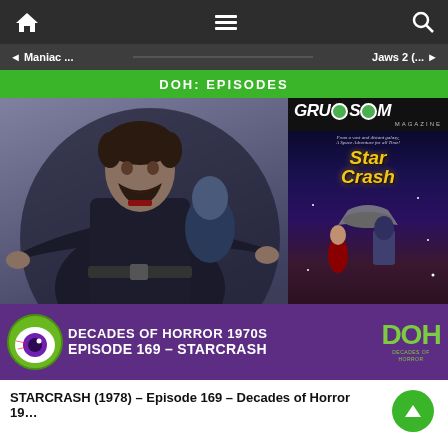DOH: EPISODES
◄ Maniac ...   Jaws 2 (... ►
[Figure (screenshot): Screenshot of a podcast/website episode page for Decades of Horror 1970s Episode 169 – Starcrash. Shows a man in black leather coat in a sci-fi setting, overlaid with a Gruesome Magazine Star Crash cover image. Bottom banner reads: DECADES OF HORROR 1970S EPISODE 169 – STARCRASH with DOH logo and eyeball icon.]
STARCRASH (1978) – Episode 169 – Decades of Horror 19…